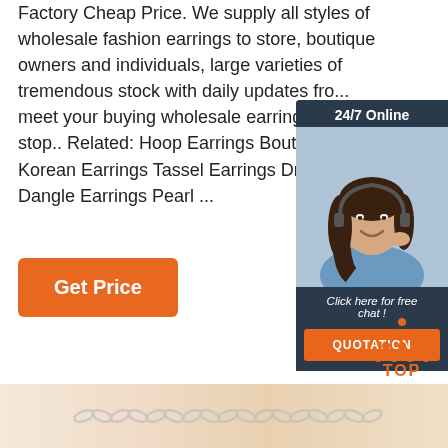Factory Cheap Price. We supply all styles of wholesale fashion earrings to store, boutique owners and individuals, large varieties of tremendous stock with daily updates fro... meet your buying wholesale earrings on... stop.. Related: Hoop Earrings Boutique Korean Earrings Tassel Earrings Drop E... Dangle Earrings Pearl ...
[Figure (infographic): 24/7 Online chat widget with a woman wearing a headset, dark blue background, orange QUOTATION button, text 'Click here for free chat!']
Get Price
[Figure (illustration): Orange dotted triangle TOP button icon]
[Figure (photo): Bottom strip showing a close-up of a silver chain necklace on a warm beige/skin-toned background]